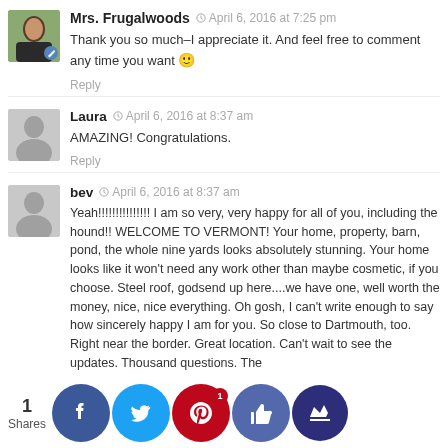Mrs. Frugalwoods — April 6, 2016 at 7:25 pm
Thank you so much–I appreciate it. And feel free to comment any time you want 🙂
Reply
Laura — April 6, 2016 at 8:37 am
AMAZING! Congratulations.
Reply
bev — April 6, 2016 at 8:37 am
Yeah!!!!!!!!!!!!!!! I am so very, very happy for all of you, including the hound!! WELCOME TO VERMONT! Your home, property, barn, pond, the whole nine yards looks absolutely stunning. Your home looks like it won't need any work other than maybe cosmetic, if you choose. Steel roof, godsend up here....we have one, well worth the money, nice, nice everything. Oh gosh, I can't write enough to say how sincerely happy I am for you. So close to Dartmouth, too. Right near the border. Great location. Can't wait to see the updates. Thousand questions. The f[…]t of a[…]you m[…]so pro[…]shoul[…] So[…]g still an[…]wing wha[…]want in[…]ow to
1 Shares